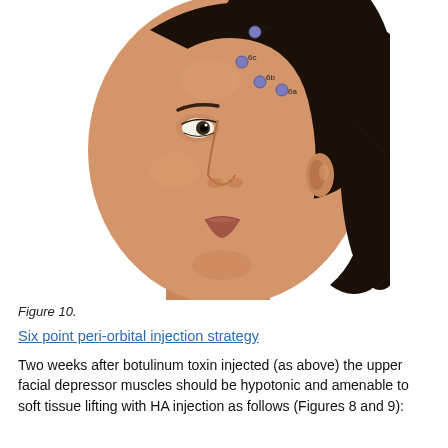[Figure (illustration): 3D rendered illustration of a woman's face in three-quarter view with dark hair pulled back. Four purple/blue injection point markers are shown on the forehead and brow area, labeled 6a, 6b, 6c, and 6c (upper). The points indicate peri-orbital injection sites.]
Figure 10.
Six point peri-orbital injection strategy
Two weeks after botulinum toxin injected (as above) the upper facial depressor muscles should be hypotonic and amenable to soft tissue lifting with HA injection as follows (Figures 8 and 9):